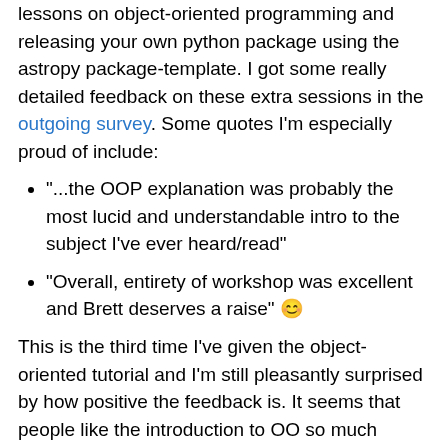lessons on object-oriented programming and releasing your own python package using the astropy package-template. I got some really detailed feedback on these extra sessions in the outgoing survey. Some quotes I'm especially proud of include:
"...the OOP explanation was probably the most lucid and understandable intro to the subject I've ever heard/read"
"Overall, entirety of workshop was excellent and Brett deserves a raise" 😊
This is the third time I've given the object-oriented tutorial and I'm still pleasantly surprised by how positive the feedback is. It seems that people like the introduction to OO so much because they have been using objects implicitly without understanding the logic for how they are